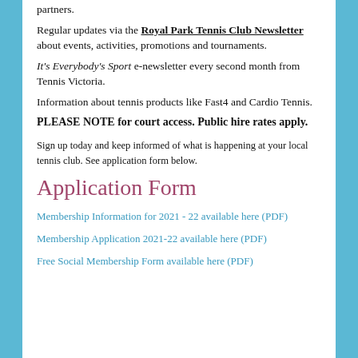partners.
Regular updates via the Royal Park Tennis Club Newsletter about events, activities, promotions and tournaments.
It's Everybody's Sport e-newsletter every second month from Tennis Victoria.
Information about tennis products like Fast4 and Cardio Tennis.
PLEASE NOTE for court access. Public hire rates apply.
Sign up today and keep informed of what is happening at your local tennis club. See application form below.
Application Form
Membership Information for 2021 - 22 available here (PDF)
Membership Application 2021-22 available here (PDF)
Free Social Membership Form available here (PDF)